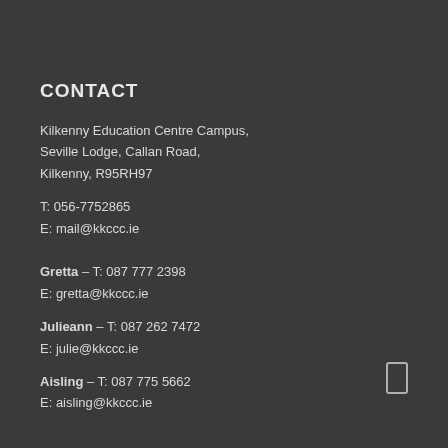CONTACT
Kilkenny Education Centre Campus,
Seville Lodge, Callan Road,
Kilkenny, R95RH97
T: 056-7752865
E: mail@kkccc.ie
Gretta – T: 087 777 2398
E: gretta@kkccc.ie
Julieann – T: 087 262 7472
E: julie@kkccc.ie
Aisling – T: 087 775 5662
E: aisling@kkccc.ie